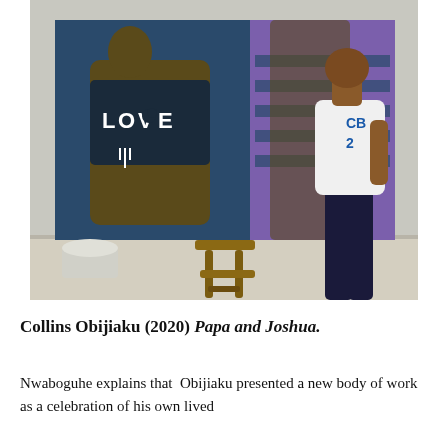[Figure (photo): A man standing in an art studio next to a large painting depicting two figures, one wearing a dark t-shirt with 'LOVE' text and the other wearing a purple and dark striped shirt. Paint buckets and an easel are visible on the floor in front of the painting.]
Collins Obijiaku (2020) Papa and Joshua.
Nwaboguhe explains that Obijiaku presented a new body of work as a celebration of his own lived